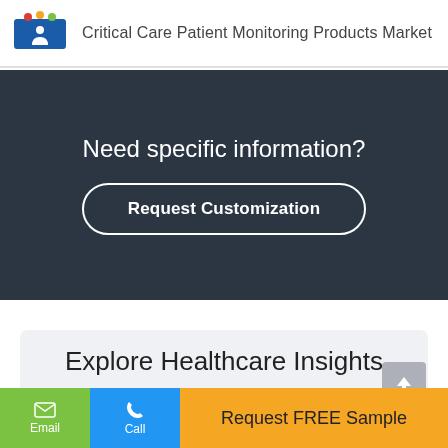Critical Care Patient Monitoring Products Market
Need specific information?
Request Customization
Explore Healthcare Insights
Request FREE Sample
Email
Call